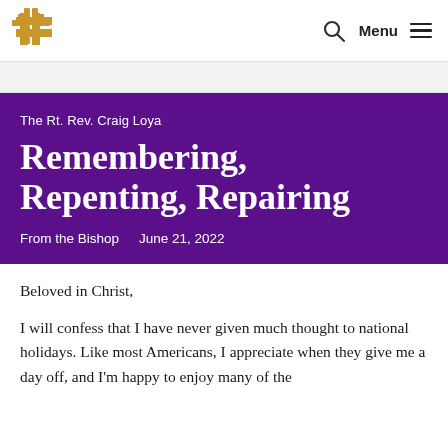The Episcopal Diocese — Menu
The Rt. Rev. Craig Loya
Remembering, Repenting, Repairing
From the Bishop   June 21, 2022
Beloved in Christ,
I will confess that I have never given much thought to national holidays. Like most Americans, I appreciate when they give me a day off, and I'm happy to enjoy many of the